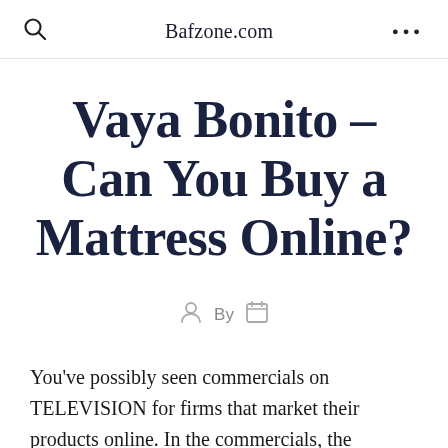Bafzone.com
Vaya Bonito – Can You Buy a Mattress Online?
By
You've possibly seen commercials on TELEVISION for firms that market their products online. In the commercials, the salesman shows you a number of